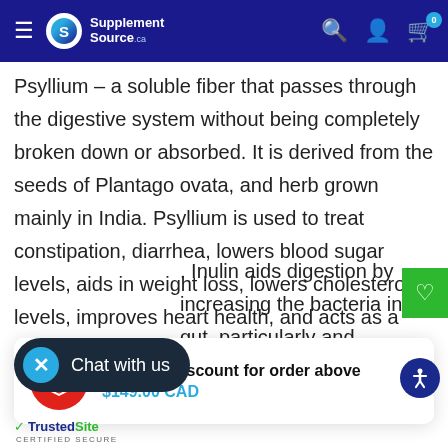SupplementSource.ca
Psyllium – a soluble fiber that passes through the digestive system without being completely broken down or absorbed. It is derived from the seeds of Plantago ovata, and herb grown mainly in India. Psyllium is used to treat constipation, diarrhea, lowers blood sugar levels, aids in weight loss, lowers cholesterol levels, improves heart health, and acts as a prebiotic, helping with gut issues.
15% cart discount for order above $149.00 CAD
. Inulin aids digestion by increasing the bacteria in the gut, particularly and Lactobacilli. These bacteria help fend off